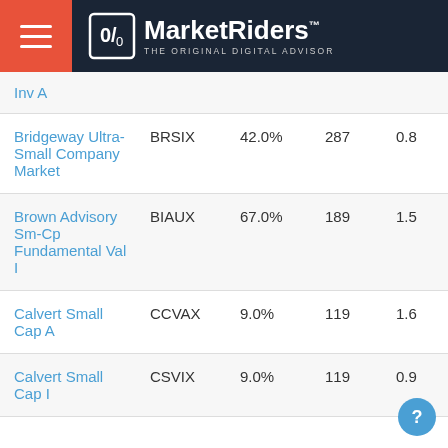MarketRiders THE ORIGINAL DIGITAL ADVISOR
| Name | Ticker | Pct | Count | Val |
| --- | --- | --- | --- | --- |
| Inv A |  |  |  |  |
| Bridgeway Ultra-Small Company Market | BRSIX | 42.0% | 287 | 0.8 |
| Brown Advisory Sm-Cp Fundamental Val I | BIAUX | 67.0% | 189 | 1.5 |
| Calvert Small Cap A | CCVAX | 9.0% | 119 | 1.6 |
| Calvert Small Cap I | CSVIX | 9.0% | 119 | 0.9 |